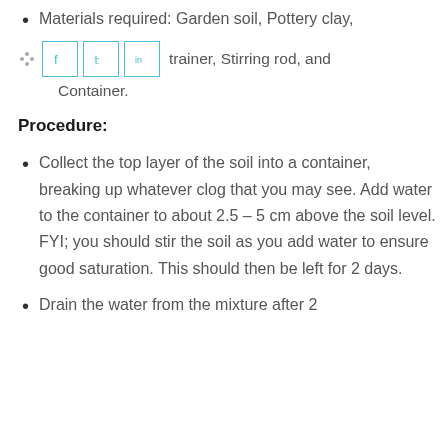Materials required: Garden soil, Pottery clay, Bucket trainer, Stirring rod, and Container.
Procedure:
Collect the top layer of the soil into a container, breaking up whatever clog that you may see. Add water to the container to about 2.5 – 5 cm above the soil level. FYI; you should stir the soil as you add water to ensure good saturation. This should then be left for 2 days.
Drain the water from the mixture after 2